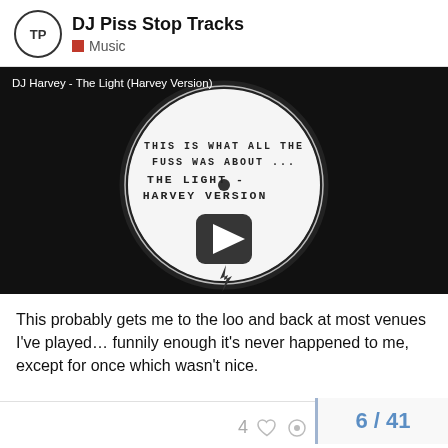DJ Piss Stop Tracks
Music
[Figure (screenshot): YouTube-style video thumbnail showing a vinyl record with text 'THIS IS WHAT ALL THE FUSS WAS ABOUT ... THE LIGHT - HARVEY VERSION' with a play button overlay. Video title: DJ Harvey - The Light (Harvey Version)]
This probably gets me to the loo and back at most venues I've played… funnily enough it's never happened to me, except for once which wasn't nice.
6 / 41